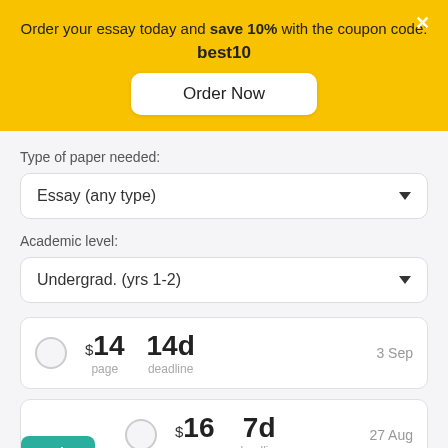Order your essay today and save 10% with the coupon code: best10
Order Now
Type of paper needed:
Essay (any type)
Academic level:
Undergrad. (yrs 1-2)
$14 page  14d deadline  3 Sep
$16 page  7d deadline  27 Aug